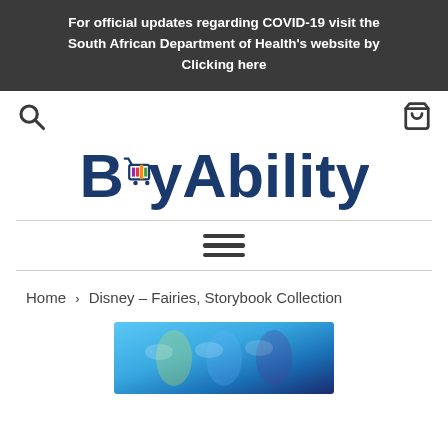For official updates regarding COVID-19 visit the South African Department of Health's website by Clicking here
[Figure (logo): BuyAbility logo with colorful shopping cart graphic replacing the 'u' in 'Buy']
Home › Disney – Fairies, Storybook Collection
[Figure (photo): Disney Fairies Storybook Collection product image showing fairy characters including Tinker Bell]